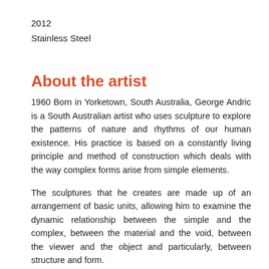2012
Stainless Steel
About the artist
1960 Born in Yorketown, South Australia, George Andric is a South Australian artist who uses sculpture to explore the patterns of nature and rhythms of our human existence. His practice is based on a constantly living principle and method of construction which deals with the way complex forms arise from simple elements.
The sculptures that he creates are made up of an arrangement of basic units, allowing him to examine the dynamic relationship between the simple and the complex, between the material and the void, between the viewer and the object and particularly, between structure and form.
As an artist, George strives to find some sense of order that is independent of the world